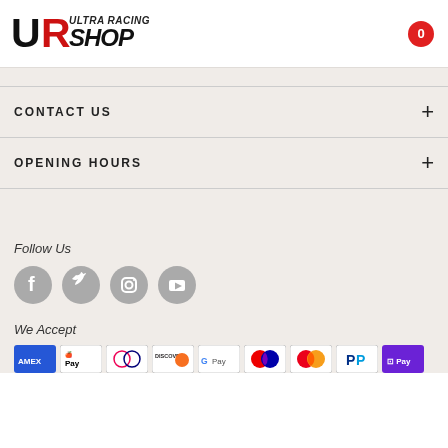[Figure (logo): Ultra Racing Shop logo with UR letters in black and red, text ULTRA RACING SHOP]
CONTACT US
OPENING HOURS
Follow Us
[Figure (illustration): Social media icons: Facebook, Twitter, Instagram, YouTube — grey circles]
We Accept
[Figure (illustration): Payment method icons: Amex, Apple Pay, Diners Club, Discover, Google Pay, Maestro, Mastercard, PayPal, OPay]